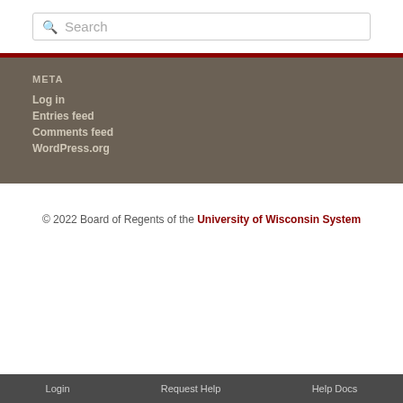Search
META
Log in
Entries feed
Comments feed
WordPress.org
© 2022 Board of Regents of the University of Wisconsin System
Login   Request Help   Help Docs